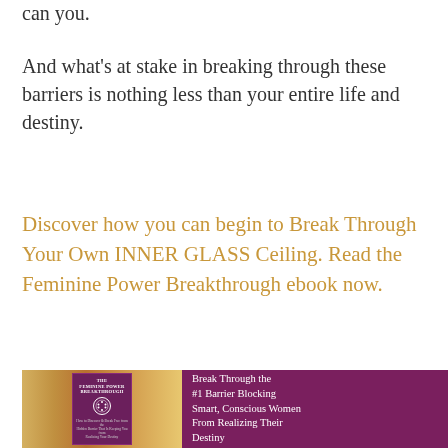can you.
And what's at stake in breaking through these barriers is nothing less than your entire life and destiny.
Discover how you can begin to Break Through Your Own INNER GLASS Ceiling. Read the Feminine Power Breakthrough ebook now.
[Figure (photo): Book cover advertisement for 'The Feminine Power Breakthrough' ebook showing a woman at a beach on the left, the book cover in the center, and purple background on the right with text: 'Break Through the #1 Barrier Blocking Smart, Conscious Women From Realizing Their Destiny']